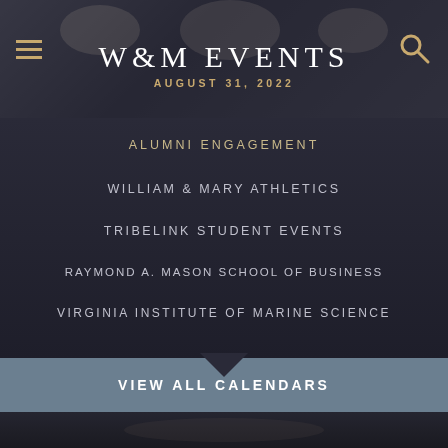W&M EVENTS
AUGUST 31, 2022
ALUMNI ENGAGEMENT
WILLIAM & MARY ATHLETICS
TRIBELINK STUDENT EVENTS
RAYMOND A. MASON SCHOOL OF BUSINESS
VIRGINIA INSTITUTE OF MARINE SCIENCE
VIEW ALL CALENDARS
[Figure (photo): Black and white photo showing hands at the bottom of the page]